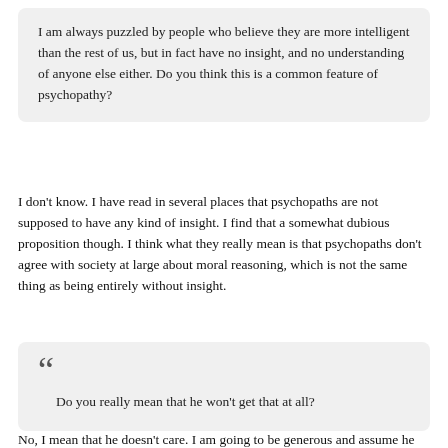I am always puzzled by people who believe they are more intelligent than the rest of us, but in fact have no insight, and no understanding of anyone else either. Do you think this is a common feature of psychopathy?
I don't know. I have read in several places that psychopaths are not supposed to have any kind of insight. I find that a somewhat dubious proposition though. I think what they really mean is that psychopaths don't agree with society at large about moral reasoning, which is not the same thing as being entirely without insight.
Do you really mean that he won't get that at all?
No, I mean that he doesn't care. I am going to be generous and assume he can grok it. He just doesn't care to say that he does since that is not his agenda.
Then again you could be right about that inability to comprehend idea. Some of the comments I have read seem to indicate a lack of ability to see connections between even ideas. Sometimes it is just a language barrier. Other times though,